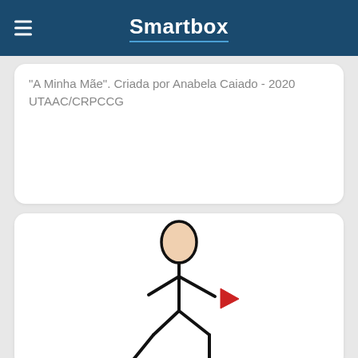Smartbox
"A Minha Mãe". Criada por Anabela Caiado - 2020 UTAAC/CRPCCG
[Figure (illustration): Stick figure person in a crouching/reading position, reaching toward a red triangular arrow pointing right]